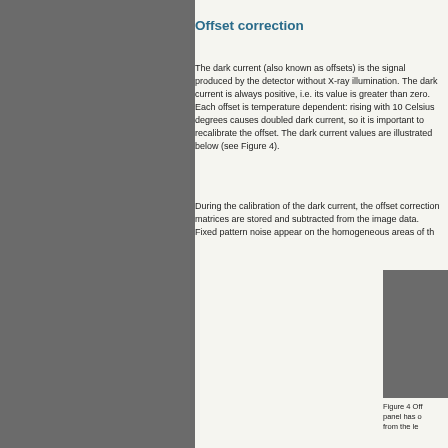Offset correction
The dark current (also known as offsets) is the signal produced by the detector without X-ray illumination. The dark current is always positive, i.e. its value is greater than zero. Each offset is temperature dependent: rising with 10 Celsius degrees causes doubled dark current, so it is important to recalibrate the offset. The dark current values are illustrated below (see Figure 4).
During the calibration of the dark current, the offset correction matrices are stored and subtracted from the image data. Fixed pattern noise appear on the homogeneous areas of th
[Figure (photo): Dark gray rectangular image showing offset correction panel]
Figure 4 Off panel has o from the le